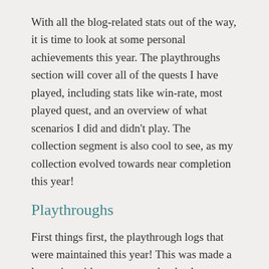With all the blog-related stats out of the way, it is time to look at some personal achievements this year. The playthroughs section will cover all of the quests I have played, including stats like win-rate, most played quest, and an overview of what scenarios I did and didn't play. The collection segment is also cool to see, as my collection evolved towards near completion this year!
Playthroughs
First things first, the playthrough logs that were maintained this year! This was made a lot easier with my new notebooks that allowed for making an easy summary at the end of the year. I did still use the same spreadsheet as last year to get a